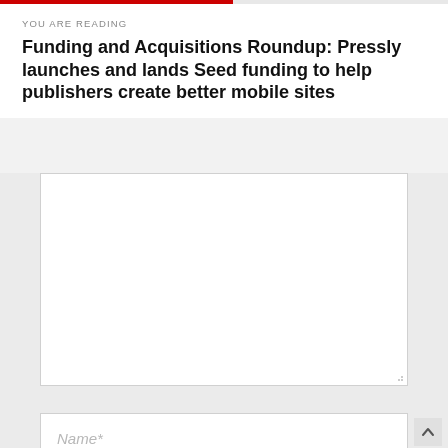YOU ARE READING
Funding and Acquisitions Roundup: Pressly launches and lands Seed funding to help publishers create better mobile sites
[Figure (screenshot): A web comment form with a large textarea and three input fields labeled Name*, Email*, and Website on a light gray background.]